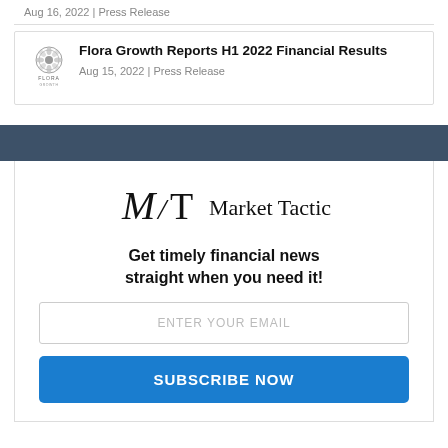Aug 16, 2022 | Press Release
[Figure (logo): Flora Growth Corp logo — ornate emblem with FLORA text]
Flora Growth Reports H1 2022 Financial Results
Aug 15, 2022 | Press Release
[Figure (logo): Market Tactic MT logo with serif lettermark]
Get timely financial news straight when you need it!
ENTER YOUR EMAIL
SUBSCRIBE NOW